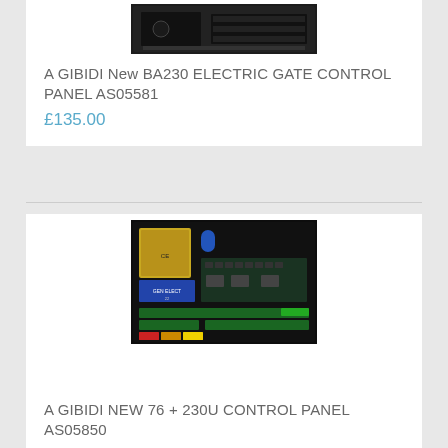[Figure (photo): Photo of A GIBIDI BA230 electric gate control panel/box, top view showing black unit]
A GIBIDI New BA230 ELECTRIC GATE CONTROL PANEL AS05581
£135.00
[Figure (photo): Photo of A GIBIDI electric gate control panel PCB circuit board interior showing transformer, capacitors, terminal blocks, and green connector strips]
A GIBIDI NEW 76 + 230U CONTROL PANEL AS05850